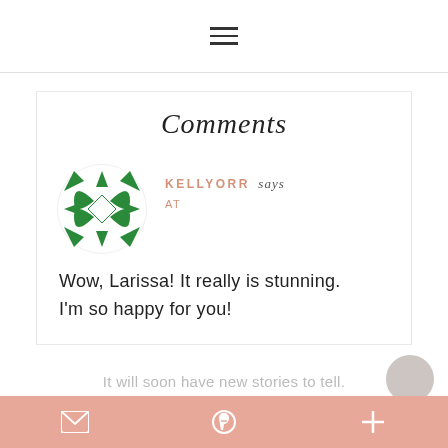≡ (hamburger menu icon)
Comments
KELLYORR says
AT
[Figure (illustration): Green geometric snowflake/kaleidoscope avatar icon for user KellyOrr]
Wow, Larissa! It really is stunning. I'm so happy for you!
It will soon have new stories to tell.
Mail icon | Pinterest icon | Plus icon